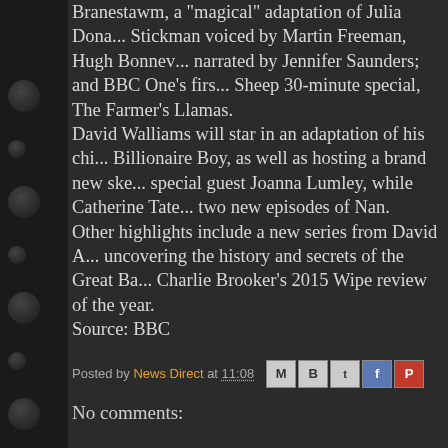Branestawm, a "magical" adaptation of Julia Dona... Stickman voiced by Martin Freeman, Hugh Bonnev... narrated by Jennifer Saunders; and BBC One's firs... Sheep 30-minute special, The Farmer's Llamas. David Walliams will star in an adaptation of his chil... Billionaire Boy, as well as hosting a brand new ske... special guest Joanna Lumley, while Catherine Tate... two new episodes of Nan. Other highlights include a new series from David A... uncovering the history and secrets of the Great Ba... Charlie Brooker's 2015 Wipe review of the year. Source: BBC
Posted by News Direct at 11:08
No comments: